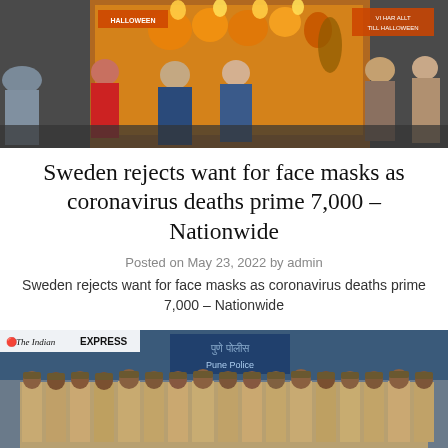[Figure (photo): Street scene with people walking past a Halloween-decorated shop window with orange pumpkin decorations and signs]
Sweden rejects want for face masks as coronavirus deaths prime 7,000 – Nationwide
Posted on May 23, 2022 by admin
Sweden rejects want for face masks as coronavirus deaths prime 7,000 – Nationwide
[Figure (photo): Group photo of Pune Police officers in uniform with The Indian Express logo in top left corner]